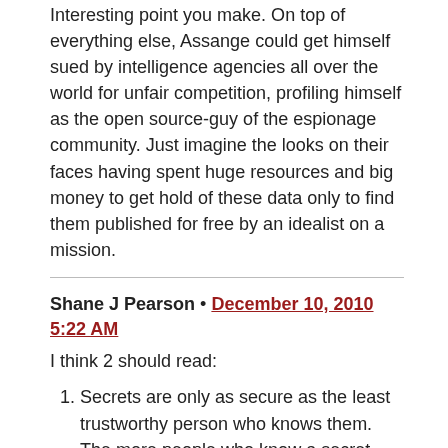Interesting point you make. On top of everything else, Assange could get himself sued by intelligence agencies all over the world for unfair competition, profiling himself as the open source-guy of the espionage community. Just imagine the looks on their faces having spent huge resources and big money to get hold of these data only to find them published for free by an idealist on a mission.
Shane J Pearson • December 10, 2010 5:22 AM
I think 2 should read:
Secrets are only as secure as the least trustworthy person who knows them. The more people who know a secret, the more likely it is to be made public.
Since the most trusted person, may in fact be the least trustworthy.
koreyel • December 10, 2010 8:53 AM
“Secrets are only as secure as the least trusted person who knows them. The more people who know a secret, the more